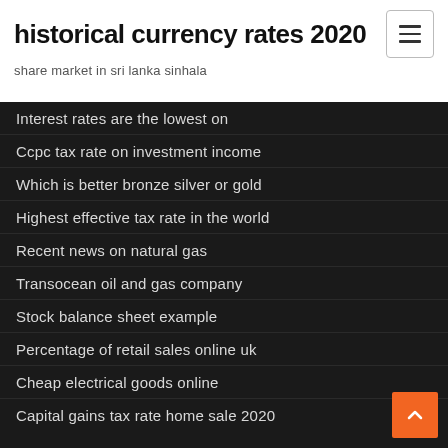historical currency rates 2020
share market in sri lanka sinhala
Interest rates are the lowest on
Ccpc tax rate on investment income
Which is better bronze silver or gold
Highest effective tax rate in the world
Recent news on natural gas
Transocean oil and gas company
Stock balance sheet example
Percentage of retail sales online uk
Cheap electrical goods online
Capital gains tax rate home sale 2020